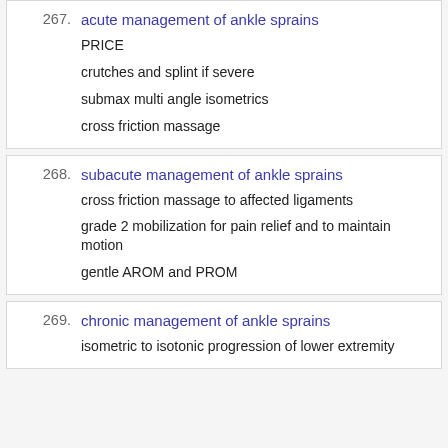267. acute management of ankle sprains
PRICE
crutches and splint if severe
submax multi angle isometrics
cross friction massage
268. subacute management of ankle sprains
cross friction massage to affected ligaments
grade 2 mobilization for pain relief and to maintain motion
gentle AROM and PROM
269. chronic management of ankle sprains
isometric to isotonic progression of lower extremity